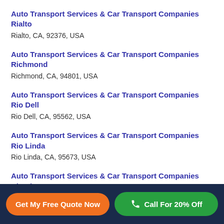Auto Transport Services & Car Transport Companies Rialto
Rialto, CA, 92376, USA
Auto Transport Services & Car Transport Companies Richmond
Richmond, CA, 94801, USA
Auto Transport Services & Car Transport Companies Rio Dell
Rio Dell, CA, 95562, USA
Auto Transport Services & Car Transport Companies Rio Linda
Rio Linda, CA, 95673, USA
Auto Transport Services & Car Transport Companies Rio Vista
Rio Vista, CA, 94571, USA
Get My Free Quote Now | Call For 20% Off